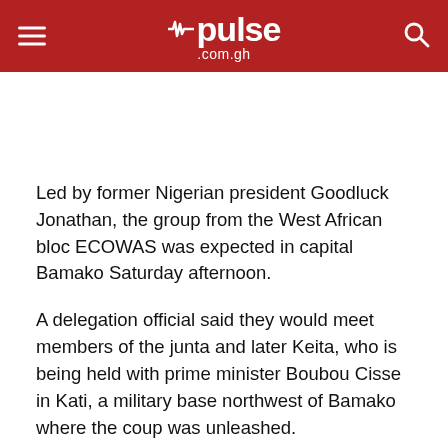pulse .com.gh
Led by former Nigerian president Goodluck Jonathan, the group from the West African bloc ECOWAS was expected in capital Bamako Saturday afternoon.
A delegation official said they would meet members of the junta and later Keita, who is being held with prime minister Boubou Cisse in Kati, a military base northwest of Bamako where the coup was unleashed.
Mali's neighbours have called for Keita to be reinstated, saying the purpose of the delegation's visit was to help